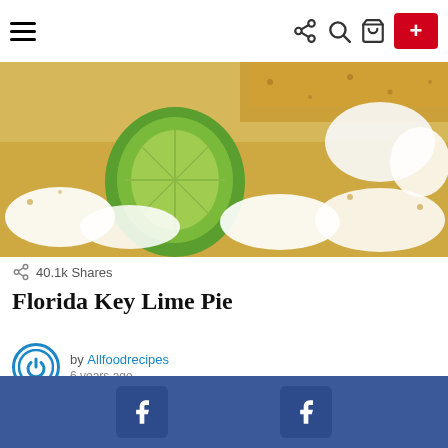Navigation bar with hamburger menu, share icon, search icon, cart icon, and + button
[Figure (photo): Close-up of Florida Key Lime Pie slice with whipped cream and a lime wedge on a cracker crust]
40.1k Shares
Florida Key Lime Pie
by Allfoodrecipes
6 years ago
Read More
[Figure (photo): Partial view of a chocolate dessert on a dark background]
Facebook share bar with two Facebook icons